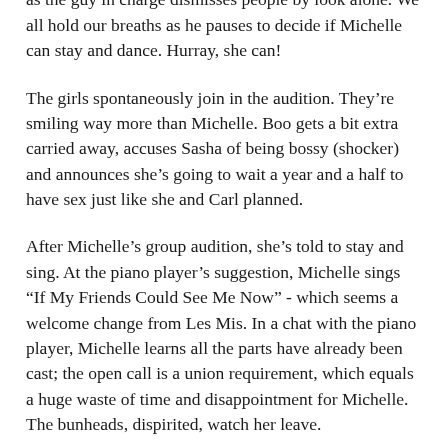the school gymnasium, presumably). Ginny is shocked as the guy in charge dismisses people by look alone. We all hold our breaths as he pauses to decide if Michelle can stay and dance. Hurray, she can!
The girls spontaneously join in the audition. They're smiling way more than Michelle. Boo gets a bit extra carried away, accuses Sasha of being bossy (shocker) and announces she's going to wait a year and a half to have sex just like she and Carl planned.
After Michelle's group audition, she's told to stay and sing. At the piano player's suggestion, Michelle sings “If My Friends Could See Me Now” - which seems a welcome change from Les Mis. In a chat with the piano player, Michelle learns all the parts have already been cast; the open call is a union requirement, which equals a huge waste of time and disappointment for Michelle. The bunheads, dispirited, watch her leave.
Milly summons Truly to The Oyster by luring her with news of Mom. Milly offers Truly a free space in one of her buildings to